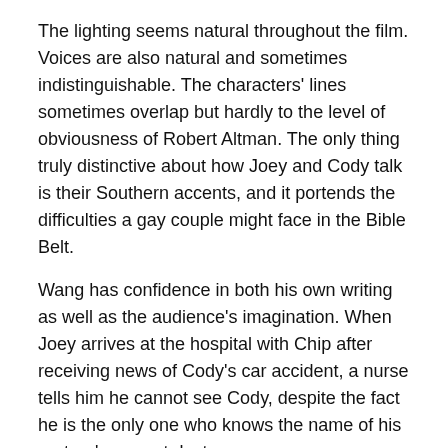The lighting seems natural throughout the film. Voices are also natural and sometimes indistinguishable. The characters' lines sometimes overlap but hardly to the level of obviousness of Robert Altman. The only thing truly distinctive about how Joey and Cody talk is their Southern accents, and it portends the difficulties a gay couple might face in the Bible Belt.
Wang has confidence in both his own writing as well as the audience's imagination. When Joey arrives at the hospital with Chip after receiving news of Cody's car accident, a nurse tells him he cannot see Cody, despite the fact he is the only one who knows the name of his partner's current doctor.
[Figure (photo): A photograph showing two people in what appears to be an indoor setting. One person appears to be embracing or leaning on another near a door or wall.]